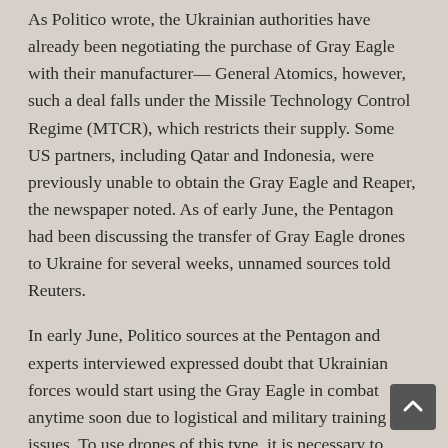As Politico wrote, the Ukrainian authorities have already been negotiating the purchase of Gray Eagle with their manufacturer— General Atomics, however, such a deal falls under the Missile Technology Control Regime (MTCR), which restricts their supply. Some US partners, including Qatar and Indonesia, were previously unable to obtain the Gray Eagle and Reaper, the newspaper noted. As of early June, the Pentagon had been discussing the transfer of Gray Eagle drones to Ukraine for several weeks, unnamed sources told Reuters.
In early June, Politico sources at the Pentagon and experts interviewed expressed doubt that Ukrainian forces would start using the Gray Eagle in combat anytime soon due to logistical and military training issues. To use drones of this type, it is necessary to undergo training for several months, depending on the configuration, the interlocutors of the newspaper indicated. At the same time, the manufacturing company General Atomics admitted that the training process for the Ukrainian military could be reduced due to "urgent needs"; Kyiv.